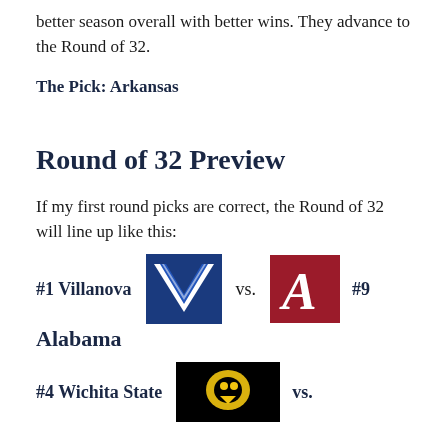better season overall with better wins. They advance to the Round of 32.
The Pick: Arkansas
Round of 32 Preview
If my first round picks are correct, the Round of 32 will line up like this:
#1 Villanova vs. #9 Alabama
#4 Wichita State vs.